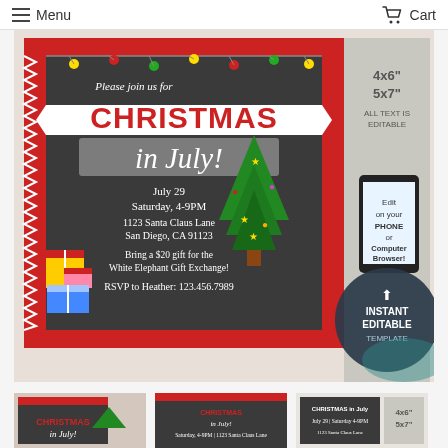Menu  |  Cart
[Figure (photo): Christmas in July party invitation template product listing image. Shows a chalkboard-style invitation with red and white decorations, Christmas tree, gift boxes, and event details. Overlay text shows '4x6" 5x7" ALL TEXT IS EDITABLE', a phone graphic saying 'Edit on your Phone or Computer Browser!', and a badge reading 'INSTANT EDITABLE TEMPLATE - Personalize + Print - Unique Digital Designs'.]
[Figure (photo): First thumbnail: Christmas in July invitation with colorful design]
[Figure (photo): Second thumbnail: Product listing detail view]
[Figure (photo): Third thumbnail: Another product detail view]